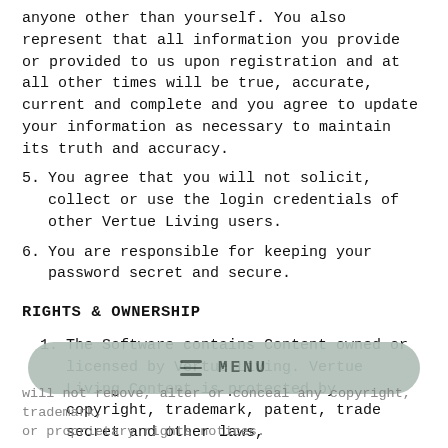anyone other than yourself. You also represent that all information you provide or provided to us upon registration and at all other times will be true, accurate, current and complete and you agree to update your information as necessary to maintain its truth and accuracy.
5. You agree that you will not solicit, collect or use the login credentials of other Vertue Living users.
6. You are responsible for keeping your password secret and secure.
RIGHTS & OWNERSHIP
1. The Software contains Content owned or licensed by Vertue Living. Vertue Living Content is protected by copyright, trademark, patent, trade secret and other laws,
will not remove, alter or conceal any copyright, trademark, or proprietary rights notices.